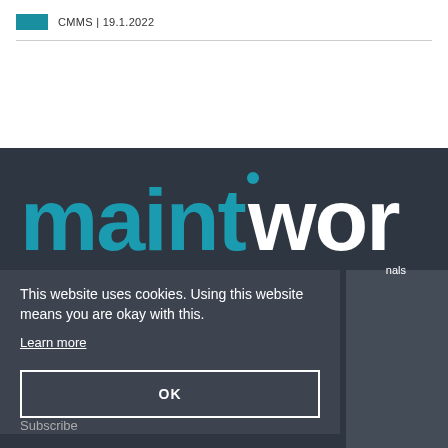CMMS | 19.1.2022
[Figure (logo): maintworld logo with teal 'maint' and white 'world' text on dark background, with 'nals' text to the right]
This website uses cookies. Using this website means you are okay with this.
Learn more
OK
Subscribe